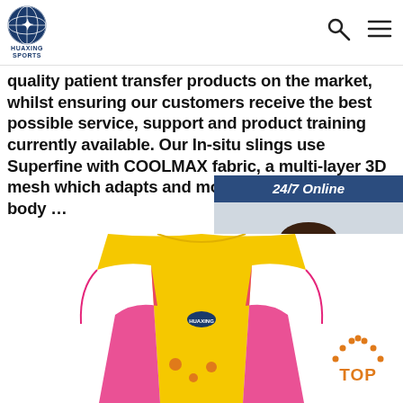[Figure (logo): HUAXING SPORTS logo with globe icon in navy blue]
[Figure (infographic): Search icon and hamburger menu icon in the top right header]
quality patient transfer products on the market, whilst ensuring our customers receive the best possible service, support and product training currently available. Our In-situ slings use Superfine with COOLMAX fabric, a multi-layer 3D mesh which adapts and moulds to the patient's body ...
[Figure (infographic): Orange 'Get Price' button]
[Figure (photo): 24/7 Online chat widget with dark blue header, photo of smiling woman with headset, and orange QUOTATION button. Text reads: Click here for free chat!]
[Figure (photo): Yellow and pink children's sports vest/swimsuit product photo]
[Figure (infographic): Orange TOP button with dotted arc above it at bottom right]